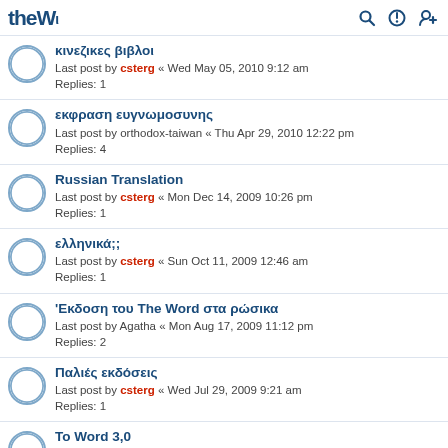theW [search] [power] [user+]
κινεζικες βιβλοι
Last post by csterg « Wed May 05, 2010 9:12 am
Replies: 1
εκφραση ευγνωμοσυνης
Last post by orthodox-taiwan « Thu Apr 29, 2010 12:22 pm
Replies: 4
Russian Translation
Last post by csterg « Mon Dec 14, 2009 10:26 pm
Replies: 1
ελληνικά;;
Last post by csterg « Sun Oct 11, 2009 12:46 am
Replies: 1
'Εκδοση του The Word στα ρώσικα
Last post by Agatha « Mon Aug 17, 2009 11:12 pm
Replies: 2
Παλιές εκδόσεις
Last post by csterg « Wed Jul 29, 2009 9:21 am
Replies: 1
To Word 3,0
Last post by Teksun « Wed Jul 22, 2009 2:14 am
Η νέα δοκιμαστική έκδοση
Last post by csterg « Wed Mar 19, 2008 2:51 pm